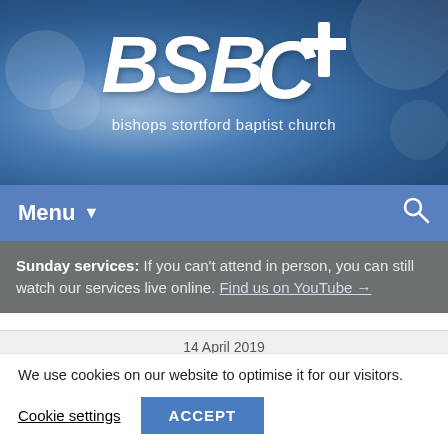[Figure (logo): BSBC logo with cross icon and tagline 'bishops stortford baptist church' on blue bokeh background]
Menu ▾
Sunday services: If you can't attend in person, you can still watch our services live online. Find us on YouTube →
14 April 2019
We use cookies on our website to optimise it for our visitors.
Cookie settings    ACCEPT